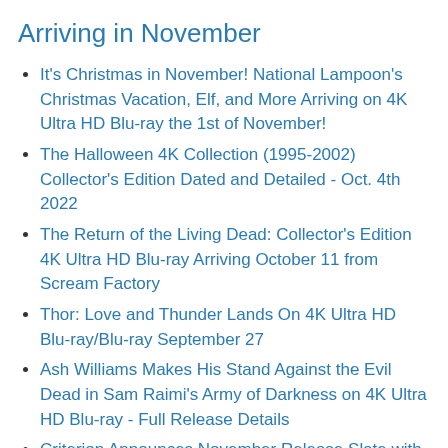Arriving in November
It's Christmas in November! National Lampoon's Christmas Vacation, Elf, and More Arriving on 4K Ultra HD Blu-ray the 1st of November!
The Halloween 4K Collection (1995-2002) Collector's Edition Dated and Detailed - Oct. 4th 2022
The Return of the Living Dead: Collector's Edition 4K Ultra HD Blu-ray Arriving October 11 from Scream Factory
Thor: Love and Thunder Lands On 4K Ultra HD Blu-ray/Blu-ray September 27
Ash Williams Makes His Stand Against the Evil Dead in Sam Raimi's Army of Darkness on 4K Ultra HD Blu-ray - Full Release Details
Criterion Announces November Release Slate with Spike Lee's Malcolm X, Jane Campion's The Power of the Dog, and Wong Kar Wai's In the Mood for Love Hitting 4K Ultra